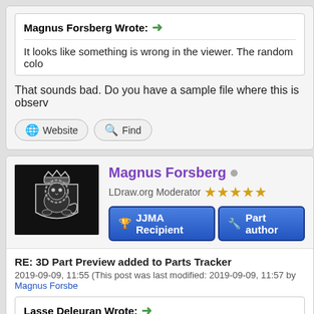Magnus Forsberg Wrote: →
It looks like something is wrong in the viewer. The random colo
That sounds bad. Do you have a sample file where this is observ
Website  Find
Magnus Forsberg
LDraw.org Moderator ★★★★★
JJMA Recipient  Part author
RE: 3D Part Preview added to Parts Tracker
2019-09-09, 11:55 (This post was last modified: 2019-09-09, 11:57 by Magnus Forsbe
Lasse Deleuran Wrote: →
That sounds bad. Do you have a sample file where this is obs
I've seen it on two different pc's, on two different parts, 44301a